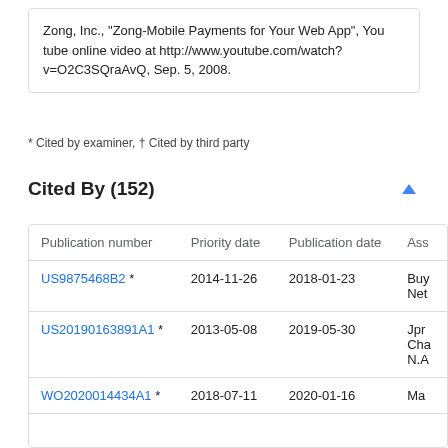Zong, Inc., "Zong-Mobile Payments for Your Web App", You tube online video at http://www.youtube.com/watch?v=O2C3SQraAvQ, Sep. 5, 2008.
* Cited by examiner, † Cited by third party
Cited By (152)
| Publication number | Priority date | Publication date | Ass |
| --- | --- | --- | --- |
| US9875468B2 * | 2014-11-26 | 2018-01-23 | Buy
Net |
| US20190163891A1 * | 2013-05-08 | 2019-05-30 | Jpr
Cha
N.A |
| WO2020014434A1 * | 2018-07-11 | 2020-01-16 | Ma |